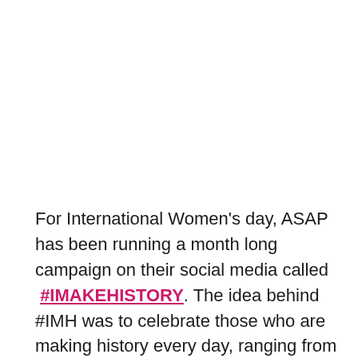For International Women's day, ASAP has been running a month long campaign on their social media called #IMAKEHISTORY. The idea behind #IMH was to celebrate those who are making history every day, ranging from the smallest task of sharing a social media post to increase awareness around safe abortion rights, to conducting research, writing articles and organizing events. All of these contribute to the